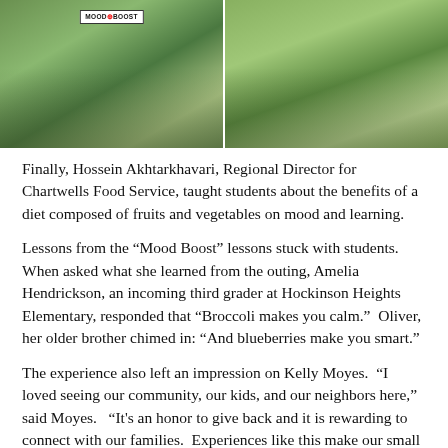[Figure (photo): Two outdoor event photos side by side: left shows children and adults at tables under trees with a Mood Boost banner; right shows a woman interacting with young children outdoors.]
Finally, Hossein Akhtarkhavari, Regional Director for Chartwells Food Service, taught students about the benefits of a diet composed of fruits and vegetables on mood and learning.
Lessons from the “Mood Boost” lessons stuck with students. When asked what she learned from the outing, Amelia Hendrickson, an incoming third grader at Hockinson Heights Elementary, responded that “Broccoli makes you calm.”  Oliver, her older brother chimed in: “And blueberries make you smart.”
The experience also left an impression on Kelly Moyes.  “I loved seeing our community, our kids, and our neighbors here,” said Moyes.   “It's an honor to give back and it is rewarding to connect with our families.  Experiences like this make our small community feel even smaller.”